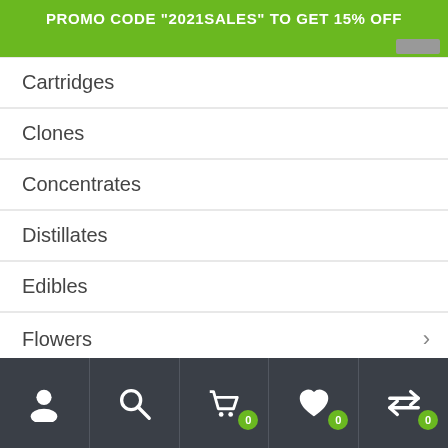PROMO CODE "2021SALES" TO GET 15% OFF
Cartridges
Clones
Concentrates
Distillates
Edibles
Flowers
Hashish
Preroll Joints
T…
Navigation bar with icons: user, search, cart (0), wishlist (0), compare (0)